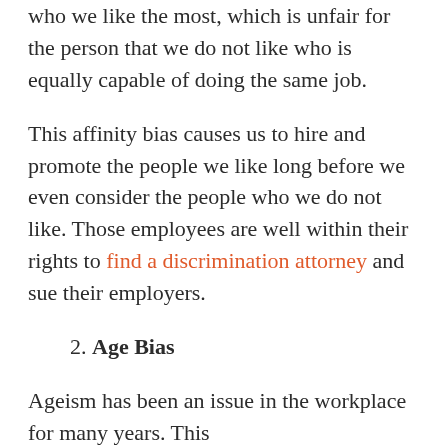who we like the most, which is unfair for the person that we do not like who is equally capable of doing the same job.
This affinity bias causes us to hire and promote the people we like long before we even consider the people who we do not like. Those employees are well within their rights to find a discrimination attorney and sue their employers.
2. Age Bias
Ageism has been an issue in the workplace for many years. This